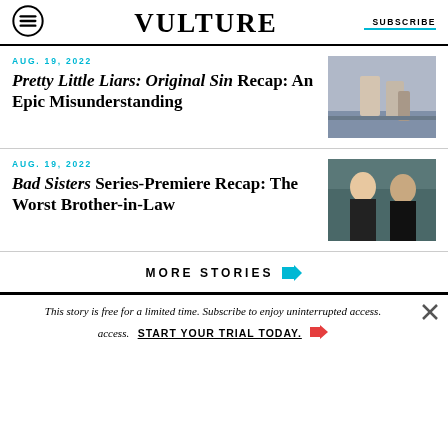VULTURE   SUBSCRIBE
AUG. 19, 2022
Pretty Little Liars: Original Sin Recap: An Epic Misunderstanding
[Figure (photo): Scene from Pretty Little Liars: Original Sin showing two people in a room]
AUG. 19, 2022
Bad Sisters Series-Premiere Recap: The Worst Brother-in-Law
[Figure (photo): Scene from Bad Sisters showing two women in black clothing against a teal background]
MORE STORIES
This story is free for a limited time. Subscribe to enjoy uninterrupted access. START YOUR TRIAL TODAY.